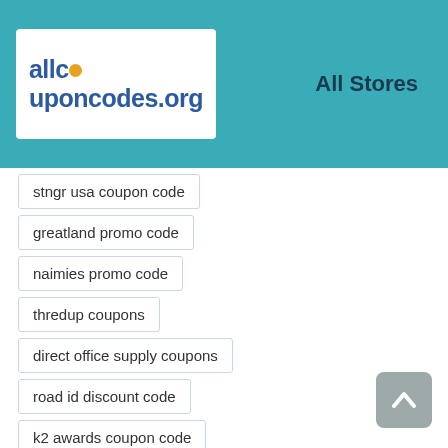[Figure (logo): allcouponcodes.org logo with orange dot replacing the 'o' in 'couponcodes']
All Stores
stngr usa coupon code
greatland promo code
naimies promo code
thredup coupons
direct office supply coupons
road id discount code
k2 awards coupon code
lymphedivas discount code
leerburg coupon code